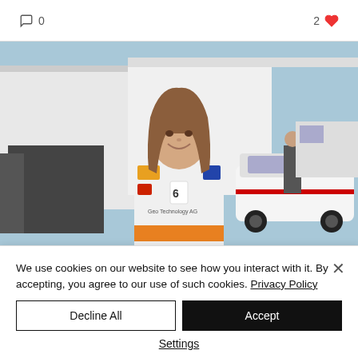[Figure (other): Interaction bar with comment icon showing 0 comments and heart icon showing 2 likes]
[Figure (photo): Young woman in white racing suit standing in front of race car paddock area with tent and cars in background]
We use cookies on our website to see how you interact with it. By accepting, you agree to our use of such cookies. Privacy Policy
Decline All
Accept
Settings